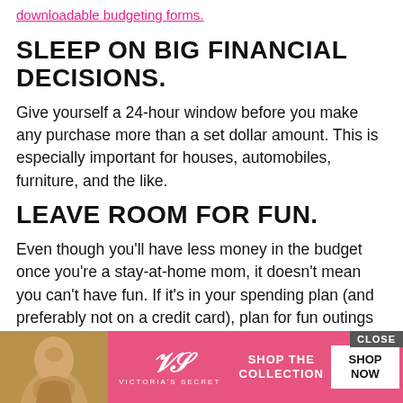downloadable budgeting forms.
SLEEP ON BIG FINANCIAL DECISIONS.
Give yourself a 24-hour window before you make any purchase more than a set dollar amount. This is especially important for houses, automobiles, furniture, and the like.
LEAVE ROOM FOR FUN.
Even though you'll have less money in the budget once you're a stay-at-home mom, it doesn't mean you can't have fun. If it's in your spending plan (and preferably not on a credit card), plan for fun outings or date nights or taking the children to the zoo. I even recommend a little fun money for you and your significant other to spend however you wish. A little free...
[Figure (advertisement): Victoria's Secret advertisement overlay with model photo, VS logo, 'SHOP THE COLLECTION' text, 'SHOP NOW' button, and 'CLOSE' button]